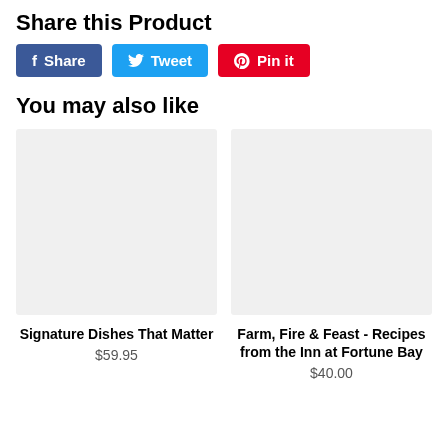Share this Product
[Figure (infographic): Three social sharing buttons: Facebook Share (blue), Twitter Tweet (cyan/blue), Pinterest Pin it (red)]
You may also like
[Figure (photo): Product image placeholder (light gray box) for Signature Dishes That Matter]
Signature Dishes That Matter
$59.95
[Figure (photo): Product image placeholder (light gray box) for Farm, Fire & Feast - Recipes from the Inn at Fortune Bay]
Farm, Fire & Feast - Recipes from the Inn at Fortune Bay
$40.00